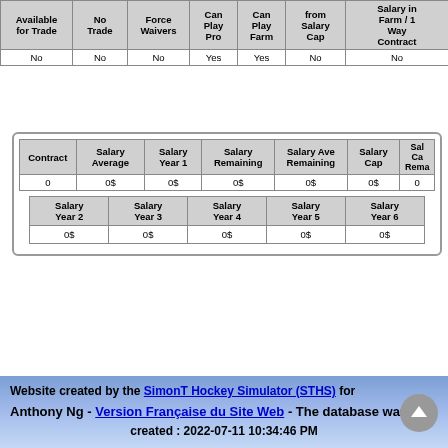| Available for Trade | No Trade | Force Waivers | Can Play Pro | Can Play Farm | from Salary Cap | Salary in Farm / 1 Way Contract |
| --- | --- | --- | --- | --- | --- | --- |
| No | No | No | Yes | Yes | No | No |
| Contract | Salary Average | Salary Year 1 | Salary Remaining | Salary Ave Remaining | Salary Cap | Salary Cap Rema... |
| --- | --- | --- | --- | --- | --- | --- |
| 0 | 0$ | 0$ | 0$ | 0$ | 0$ | 0 |
| Salary Year 2 | Salary Year 3 | Salary Year 4 | Salary Year 5 | Salary Year 6 |
| --- | --- | --- | --- | --- |
| 0$ | 0$ | 0$ | 0$ | 0$ |
Website created by the SimonT Hockey Simulator (STHS) for Anthony Ng - Version Française du Site Web - The database was created : 2022-07-11 10:34:46 PM